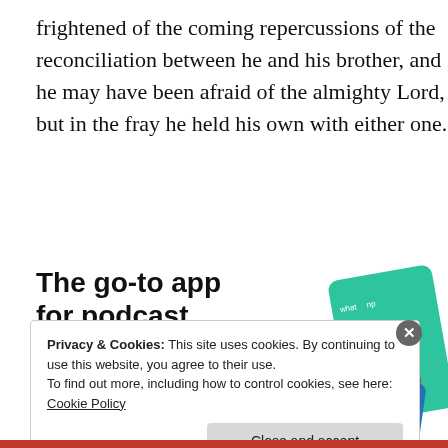frightened of the coming repercussions of the reconciliation between he and his brother, and he may have been afraid of the almighty Lord, but in the fray he held his own with either one.
[Figure (infographic): Advertisement for a podcast app. Bold black text reads 'The go-to app for podcast lovers.' with an orange 'Download now' link. App cards are shown to the right including a 99% Invisible podcast card and other cards.]
Privacy & Cookies: This site uses cookies. By continuing to use this website, you agree to their use.
To find out more, including how to control cookies, see here: Cookie Policy